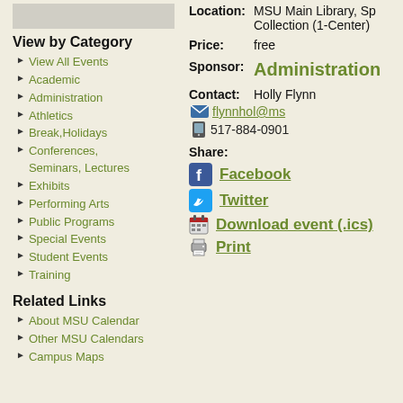[Figure (other): Gray placeholder box at top left]
View by Category
View All Events
Academic
Administration
Athletics
Break,Holidays
Conferences, Seminars, Lectures
Exhibits
Performing Arts
Public Programs
Special Events
Student Events
Training
Related Links
About MSU Calendar
Other MSU Calendars
Campus Maps
Location: MSU Main Library, Sp... Collection (1-Center)...
Price: free
Sponsor: Administration
Contact: Holly Flynn
flynnhol@ms...
517-884-0901
Share: Facebook Twitter Download event (.ics) Print